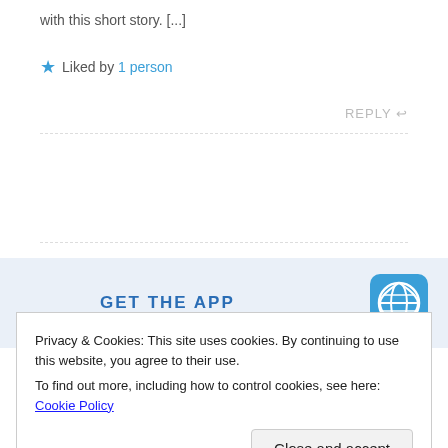with this short story. [...]
★ Liked by 1 person
REPLY ↩
[Figure (screenshot): WordPress GET THE APP banner with WordPress logo icon on blue-tinted background]
Privacy & Cookies: This site uses cookies. By continuing to use this website, you agree to their use. To find out more, including how to control cookies, see here: Cookie Policy
Close and accept